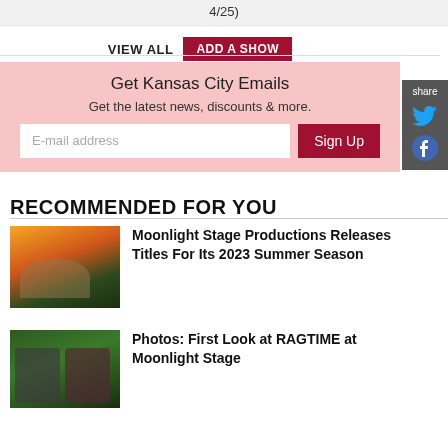4/25)
VIEW ALL  ADD A SHOW
Get Kansas City Emails
Get the latest news, discounts & more.
E-mail address
Sign Up
share
RECOMMENDED FOR YOU
Moonlight Stage Productions Releases Titles For Its 2023 Summer Season
Photos: First Look at RAGTIME at Moonlight Stage